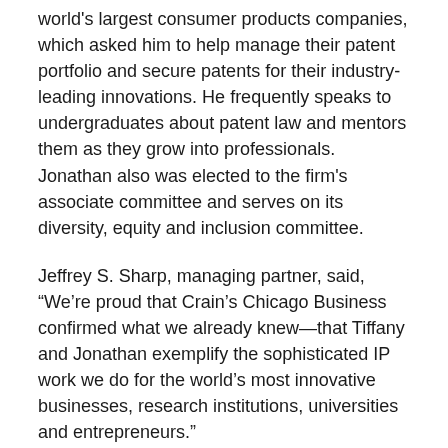world's largest consumer products companies, which asked him to help manage their patent portfolio and secure patents for their industry-leading innovations. He frequently speaks to undergraduates about patent law and mentors them as they grow into professionals. Jonathan also was elected to the firm's associate committee and serves on its diversity, equity and inclusion committee.
Jeffrey S. Sharp, managing partner, said, “We’re proud that Crain’s Chicago Business confirmed what we already knew—that Tiffany and Jonathan exemplify the sophisticated IP work we do for the world’s most innovative businesses, research institutions, universities and entrepreneurs.”
ASSOCIATED PEOPLE